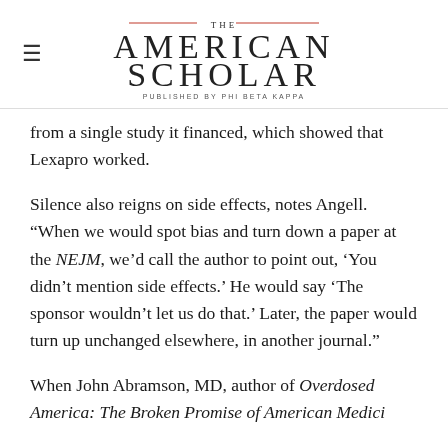THE AMERICAN SCHOLAR — PUBLISHED BY PHI BETA KAPPA
from a single study it financed, which showed that Lexapro worked.
Silence also reigns on side effects, notes Angell. “When we would spot bias and turn down a paper at the NEJM, we’d call the author to point out, ‘You didn’t mention side effects.’ He would say ‘The sponsor wouldn’t let us do that.’ Later, the paper would turn up unchanged elsewhere, in another journal.”
When John Abramson, MD, author of Overdosed America: The Broken Promise of American Medicine